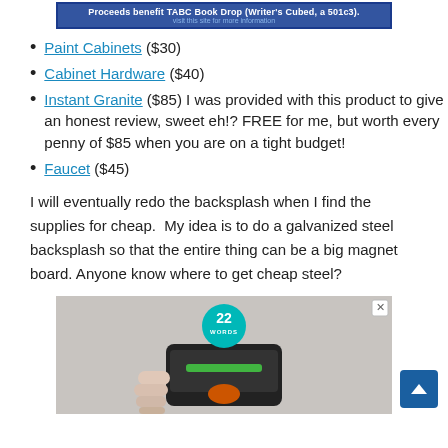[Figure (screenshot): Blue banner ad with text: Proceeds benefit TABC Book Drop (Writer's Cubed, a 501c3).]
Paint Cabinets ($30)
Cabinet Hardware ($40)
Instant Granite ($85) I was provided with this product to give an honest review, sweet eh!? FREE for me, but worth every penny of $85 when you are on a tight budget!
Faucet ($45)
I will eventually redo the backsplash when I find the supplies for cheap.  My idea is to do a galvanized steel backsplash so that the entire thing can be a big magnet board. Anyone know where to get cheap steel?
[Figure (screenshot): Advertisement image showing a hand holding a device, with a teal '22 Words' badge overlay and close button.]